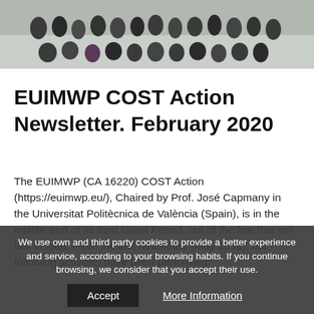[Figure (photo): Group photo of people (researchers/attendees) posing together indoors]
EUIMWP COST Action Newsletter. February 2020
The EUIMWP (CA 16220) COST Action (https://euimwp.eu/), Chaired by Prof. José Capmany in the Universitat Politècnica de València (Spain), is in the middle-end of its third Grant Period, out of the five that will last in total. From the last newsletter (May 2018), the following activities have been performed:
We use own and third party cookies to provide a better experience and service, according to your browsing habits. If you continue browsing, we consider that you accept their use.